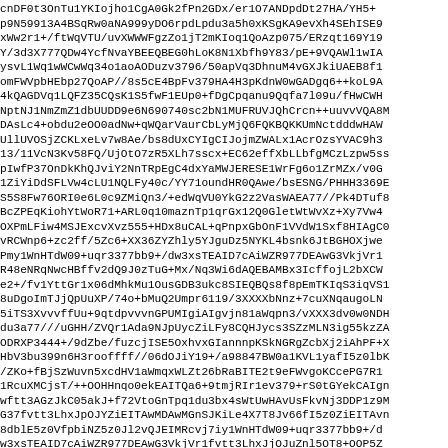cnDF0t3OnTu1YKIojho1CgA0Gk2fPn2GDx/er1O7ANDpdDt27HA/YH5+p9N59913A4BSqRw0aNA999yDO6rpdLpdu3a5h0xKSgKA9evXh4SEhISE9xWw2r1+/ftWqVTU/uvXWWWFgzZo1jT2mKIoq1QoAzp075/ERzqt169Y19Y/3d3X777QDw4YcfNvaYBEEQBEG0hLoK8N1Xbfh9Y83/pE+9VQAWl1wIAysvL1Wq1wWCwWq34o1aoAODuzv3796/50apVq3DhnuM4vGXJkiUAEB8f1omFWVpbHEbp27QoAP//8s5cE4BpFv379HA4H3pKdnW0wGADgq6++koL9A4kQAGDVq1LQFZ35CQsK1S5fwF1EUp0+fDgCpqanu9Qqfa7l09u/fHwCWHNptNJ1NmZmZ1dbUUDD9e6N690740sc2bN1MUFRUVJQhCrcn++uuvvVQA8MDAsLc4+obdu2eOO0adNw+qWQarVaurCbLyMjQ6FQKBQKKUmNctdddwHAWwUllUVOSjZCKLxeLv7w8Ae/bs8dUxCYIgCIJojmZWALx1AcrOzsYVAC9h3z13/11VcN3Kv58FQ/UjOtO7zR5XLh7sscx+EC62effXbLLbfgMCzLzpw5sspIwfP37OnDkKhQJviY2NnTRpEgC4dxYaMWJERESE1WrFg6o1ZrMZx/v0G1ZiYiDdSFLVw4cLU1NQLFy40c/YY71oundHR0QAwe/bsESNG/PHHH3369ES5S8Fw76ORI0e6L0c9ZMiQn3/+edWqVU0YkG2z2VasWAEA77//Pk4DTuf8-BcZPEqKiohYtWoR71+ARL0q10maznTp1qrGx12Q0GletWtWvXz+Xy7Vw4OXPmLFiw4MSJExcvXvz555+HDx8uCAL+qPnpxGbOnF1VVdW1Sxf8HIAgC0vRCWnp6+zc2ff/5Zc6+XX36ZYZhly5YJguDz5NYKL4bsnk6JtBGHOXjwePmy1WnHTdW09+uqr3377bb9+/dw3xsTEAID7cAiWZR977DEAwG3VkjVr1R48eNRqNwcHBffv2dQ9J0zTuG+Mx/Nq3Wi6dAQEBAMBx3IcffojL2bXCWe2+/fv1YttGr1x06dMhkMu1OusGDB3ukc8SIEQBQs8f8pEmTKIqS3iqVS18uDgoImTJjQpUuXP/74o+bMuQ2Umpr6119/3XXXXbNnz+7cuXNqaugoLN5iTS3XvvvffUu+9qtdpvvvnGPUMIgiAIgvjn81aWqvn3/vXXX3dv0w0NDEdu3a77///uGHH/ZVQr1Ada9NJpUycZiLFy8CQHJycs3SZzMLN3ig55kzZAODRXP3444+/9dZbe/fuzcjISE5OxhvxGIannnpKSkNGRgZcbXj2iAhPF+XHbv3bu399n6H3rooffff//06dOJiY19+/a98847BW0a1KVL1yafI5z01bK/ZKo+fBjSzWuvn5xcdHV1aWmqxWLZt26bRaBITE2t9eFWvgoKCcePG7R1RcuXMCjsT/++OOHHnqo0ekEAITQa6+9tmjRIr1ev379+rS0tGYekCAIgnwftt3AGzJkC05akJ+f72VtoGnTpq1du3bx4sWtUwHAvUsFkvNj3DDP1z9MG37fvtt3LhxJpOJYZiEITAwMDAwMGnSJKiLe4X7T8Jv66fI5z0ZiEITAvn8dblE5z0VfpbiNZ5z0Jl2vQJEIMRcvj7iy1WnHTdW09+uqr3377bb9+/dw3xsTEAID7cAiWZR977DEAwG3VkjVr1fvtt3LhxJjOJuZnl5OT8+OOP5Zc6+XX36ZYZhly5YJguDz5NYKL4bsnk6JtBGHOXjwd